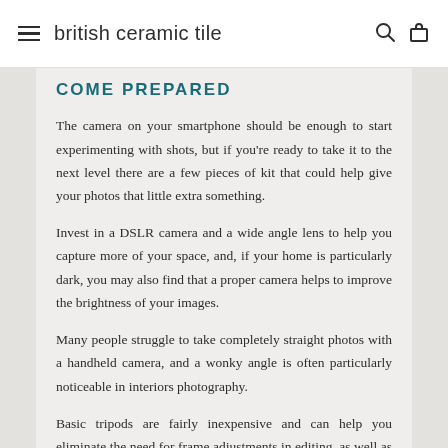british ceramic tile
COME PREPARED
The camera on your smartphone should be enough to start experimenting with shots, but if you're ready to take it to the next level there are a few pieces of kit that could help give your photos that little extra something.
Invest in a DSLR camera and a wide angle lens to help you capture more of your space, and, if your home is particularly dark, you may also find that a proper camera helps to improve the brightness of your images.
Many people struggle to take completely straight photos with a handheld camera, and a wonky angle is often particularly noticeable in interiors photography.
Basic tripods are fairly inexpensive and can help you eliminate the need for frame adjustments in editing, as well as opening up new angle possibilities.